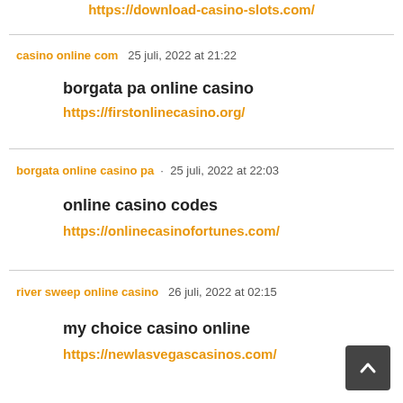https://download-casino-slots.com/
casino online com   25 juli, 2022 at 21:22
borgata pa online casino
https://firstonlinecasino.org/
borgata online casino pa   25 juli, 2022 at 22:03
online casino codes
https://onlinecasinofortunes.com/
river sweep online casino   26 juli, 2022 at 02:15
my choice casino online
https://newlasvegascasinos.com/